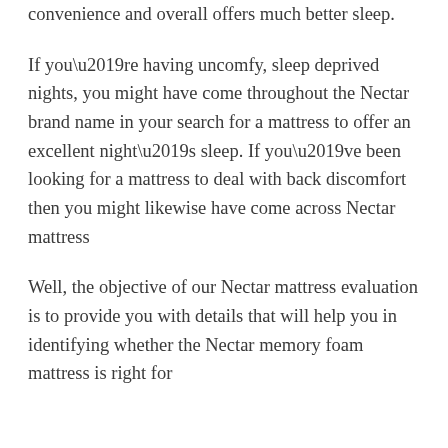convenience and overall offers much better sleep.
If you’re having uncomfy, sleep deprived nights, you might have come throughout the Nectar brand name in your search for a mattress to offer an excellent night’s sleep. If you’ve been looking for a mattress to deal with back discomfort then you might likewise have come across Nectar mattress
Well, the objective of our Nectar mattress evaluation is to provide you with details that will help you in identifying whether the Nectar memory foam mattress is right for